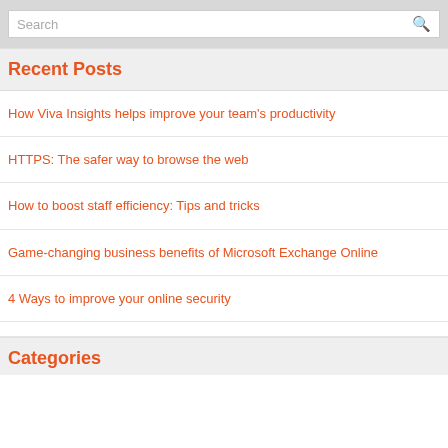Search
Recent Posts
How Viva Insights helps improve your team's productivity
HTTPS: The safer way to browse the web
How to boost staff efficiency: Tips and tricks
Game-changing business benefits of Microsoft Exchange Online
4 Ways to improve your online security
Categories